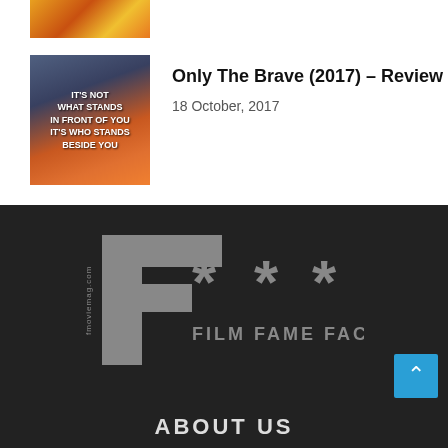[Figure (photo): Partial movie poster thumbnail at top, action/superhero style with orange and yellow tones]
[Figure (photo): Movie poster for Only The Brave (2017) with firefighter and flames, text: IT'S NOT WHAT STANDS IN FRONT OF YOU IT'S WHO STANDS BESIDE YOU]
Only The Brave (2017) – Review
18 October, 2017
[Figure (logo): F*** FILM FAME FACT logo with large stylized F and asterisks, fmovie mag.com label]
ABOUT US